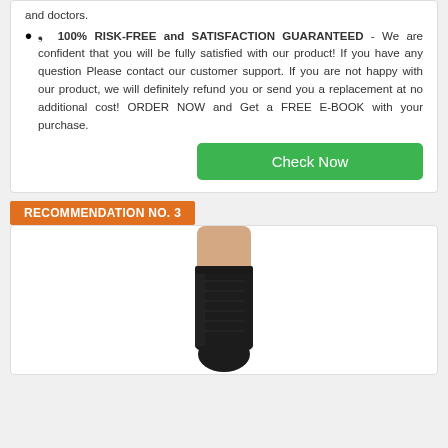and doctors.
✓  100% RISK-FREE and SATISFACTION GUARANTEED - We are confident that you will be fully satisfied with our product! If you have any question Please contact our customer support. If you are not happy with our product, we will definitely refund you or send you a replacement at no additional cost! ORDER NOW and Get a FREE E-BOOK with your purchase.
RECOMMENDATION NO. 3
[Figure (photo): Black compression sock worn on a leg, shown from knee down]